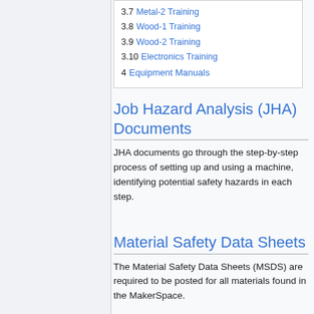3.7  Metal-2 Training
3.8  Wood-1 Training
3.9  Wood-2 Training
3.10  Electronics Training
4  Equipment Manuals
Job Hazard Analysis (JHA) Documents
JHA documents go through the step-by-step process of setting up and using a machine, identifying potential safety hazards in each step.
Material Safety Data Sheets
The Material Safety Data Sheets (MSDS) are required to be posted for all materials found in the MakerSpace.